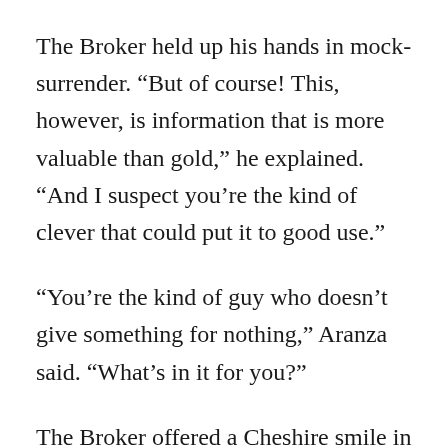The Broker held up his hands in mock-surrender. “But of course! This, however, is information that is more valuable than gold,” he explained. “And I suspect you’re the kind of clever that could put it to good use.”
“You’re the kind of guy who doesn’t give something for nothing,” Aranza said. “What’s in it for you?”
The Broker offered a Cheshire smile in response. “I share these very valuable details with you and then you must accept being part of this heist,” he